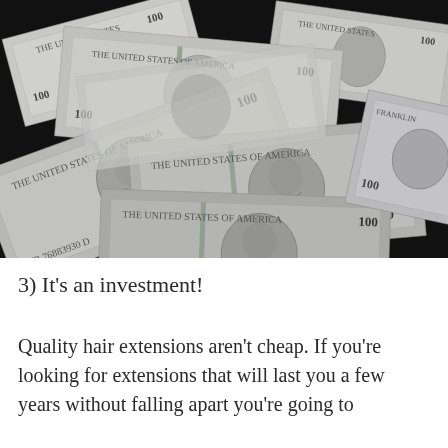[Figure (photo): Overhead photo of scattered US $100 dollar bills spread across a dark surface, showing multiple bills with Benjamin Franklin's portrait in black and white tones]
3) It's an investment!
Quality hair extensions aren't cheap. If you're looking for extensions that will last you a few years without falling apart you're going to